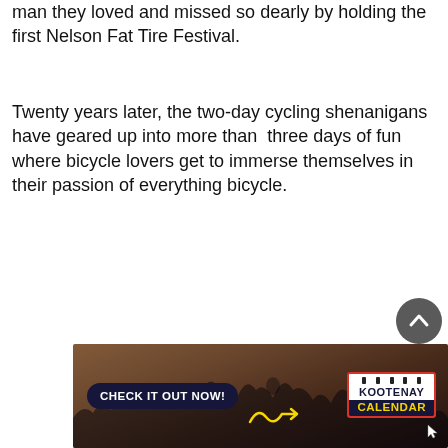man they loved and missed so dearly by holding the first Nelson Fat Tire Festival.
Twenty years later, the two-day cycling shenanigans have geared up into more than  three days of fun where bicycle lovers get to immerse themselves in their passion of everything bicycle.
[Figure (other): Banner advertisement with crowd photo background. Left side has a dark navy pill-shaped button reading 'CHECK IT OUT NOW!' in white bold text, with a yellow squiggle arrow pointing right. Right side shows a box with red border containing 'KOOTENAY' in dark text above 'CALENDAR' in yellow text on dark background, with calendar-style dots at top. A cursor icon appears at bottom right. There is also a circular dark scroll-to-top button overlapping the top-right of the banner.]